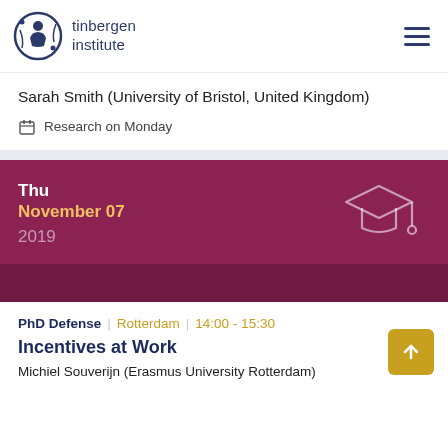tinbergen institute
Sarah Smith (University of Bristol, United Kingdom)
Research on Monday
[Figure (infographic): Date card with maroon background showing Thu November 07 2019 with a graduation cap icon]
PhD Defense | Rotterdam | 14:00 - 15:30
Incentives at Work
Michiel Souverijn (Erasmus University Rotterdam)